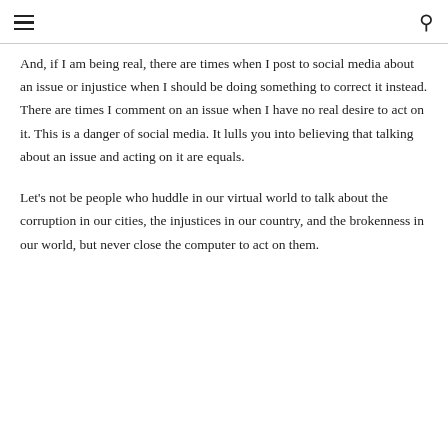≡  🔍
And, if I am being real, there are times when I post to social media about an issue or injustice when I should be doing something to correct it instead. There are times I comment on an issue when I have no real desire to act on it. This is a danger of social media. It lulls you into believing that talking about an issue and acting on it are equals.
Let's not be people who huddle in our virtual world to talk about the corruption in our cities, the injustices in our country, and the brokenness in our world, but never close the computer to act on them.